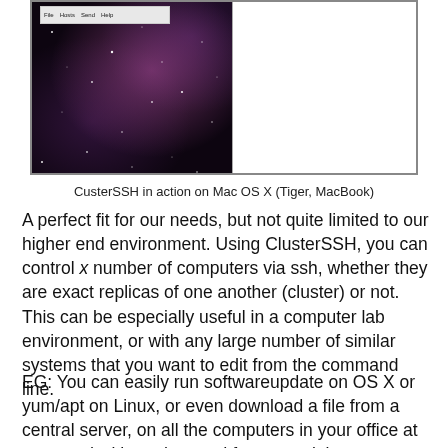[Figure (screenshot): Screenshot of ClusterSSH application on Mac OS X (Tiger, MacBook). Left panel shows a dark nebula/space background with a Mac OS X menu bar at top showing File, Hosts, Send, Help menus. Right panel shows a white/empty terminal window. The two panels are side by side within a bordered window frame.]
CusterSSH in action on Mac OS X (Tiger, MacBook)
A perfect fit for our needs, but not quite limited to our higher end environment. Using ClusterSSH, you can control x number of computers via ssh, whether they are exact replicas of one another (cluster) or not. This can be especially useful in a computer lab environment, or with any large number of similar systems that you want to edit from the command line.
EG: You can easily run softwareupdate on OS X or yum/apt on Linux, or even download a file from a central server, on all the computers in your office at once and without the need for more elaborate or expensive